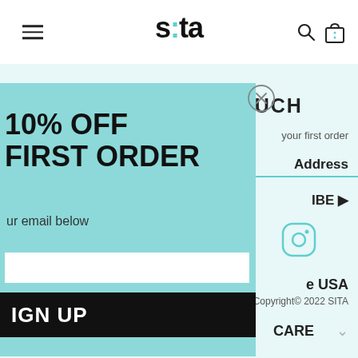sita (logo with hamburger menu, search, and bag icons)
LET'S KEEP IN TOUCH
your first order
Address
IBE ▶
[Figure (logo): Instagram icon (circle outline)]
e USA
Copyright© 2022 SITA
CARE
10% OFF
FIRST ORDER
ur email below
IGN UP